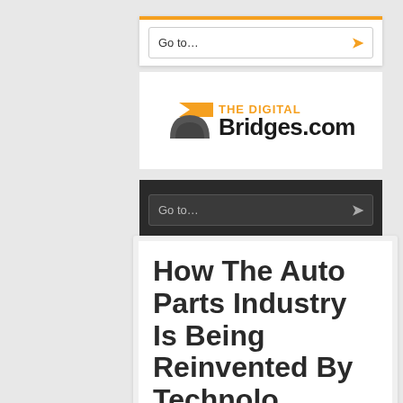[Figure (screenshot): Top navigation bar with 'Go to...' dropdown on white background with orange top border]
[Figure (logo): The Digital Bridges.com logo with orange bridge graphic and bold text]
[Figure (screenshot): Bottom navigation bar with 'Go to...' dropdown on dark background with orange bottom border]
How The Auto Parts Industry Is Being Reinvented By Technology